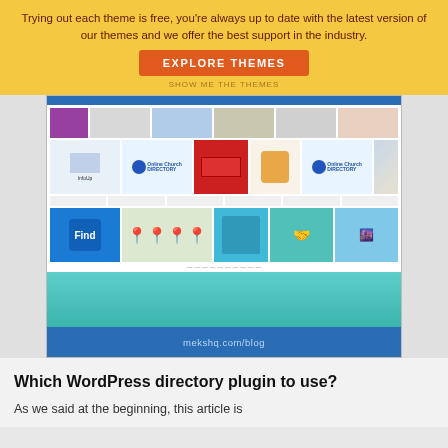Trying out each theme is free, you're always up to date with the latest version of our themes and we offer the best support in the industry.
[Figure (screenshot): Yellow banner with orange EXPLORE THEMES button and partial Show Me The Themes text below, followed by a screenshot of a WordPress theme/plugin showcase page with a grid of images showing Online Church Directory and Find-related items, a teal lower section, and a blue footer with mekshq.com/blog]
Which WordPress directory plugin to use?
As we said at the beginning, this article is